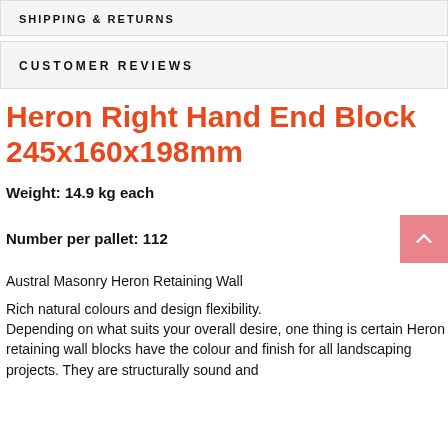SHIPPING & RETURNS
CUSTOMER REVIEWS
Heron Right Hand End Block 245x160x198mm
Weight: 14.9 kg each
Number per pallet: 112
Austral Masonry Heron Retaining Wall
Rich natural colours and design flexibility. Depending on what suits your overall desire, one thing is certain Heron retaining wall blocks have the colour and finish for all landscaping projects. They are structurally sound and